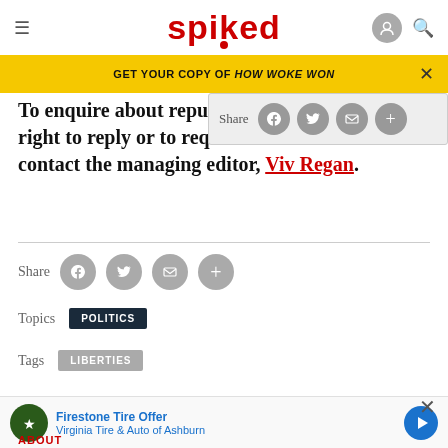spiked
GET YOUR COPY OF HOW WOKE WON
To enquire about republishing right to reply or to request a contact the managing editor, Viv Regan.
Share
Topics  POLITICS
Tags  LIBERTIES
COMMENTS
ABOUT
[Figure (screenshot): Firestone Tire Offer advertisement — Virginia Tire & Auto of Ashburn with logo and arrow icon]